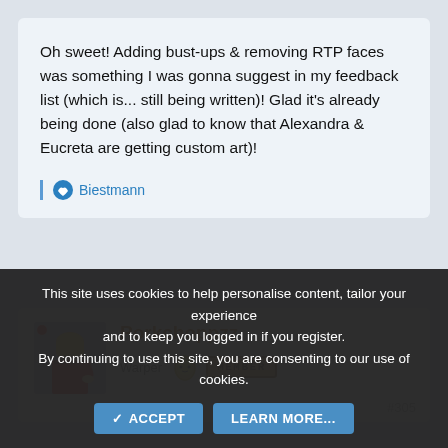Oh sweet! Adding bust-ups & removing RTP faces was something I was gonna suggest in my feedback list (which is... still being written)! Glad it's already being done (also glad to know that Alexandra & Eucreta are getting custom art)!
Biestmann
Porkchoppzz
Warper
Jan 1, 2020
#305
This site uses cookies to help personalise content, tailor your experience and to keep you logged in if you register.
By continuing to use this site, you are consenting to our use of cookies.
ACCEPT
LEARN MORE...